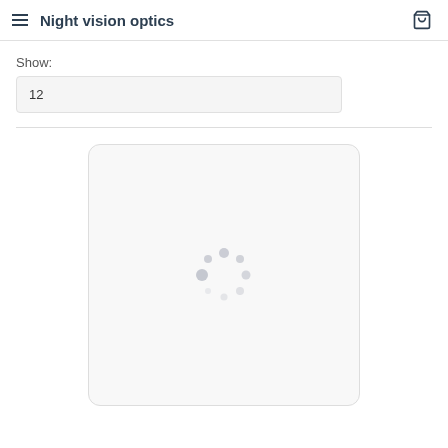Night vision optics
Show:
12
[Figure (screenshot): A loading spinner (circular arrangement of dots in varying sizes and opacity) centered in a light gray rounded rectangle card, indicating product content is loading.]